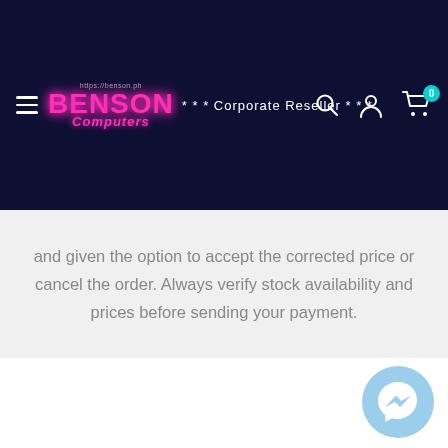https://benson.ph BENSON Computers *** Corporate Reseller ***
and given the option to accept the corrected price or cancel the order. Always verify stock availability and prices before sending your payment.